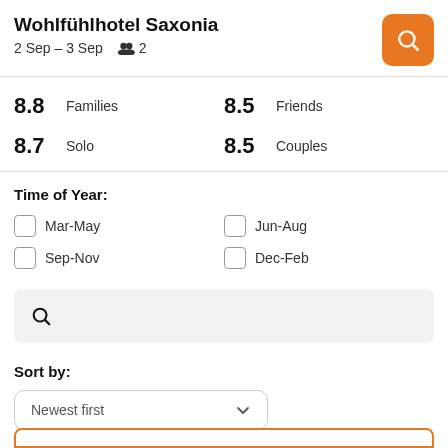Wohlfühlhotel Saxonia
2 Sep – 3 Sep  👥 2
8.8 Families  8.5 Friends  8.7 Solo  8.5 Couples
Time of Year:
Mar-May
Jun-Aug
Sep-Nov
Dec-Feb
Sort by:
Newest first